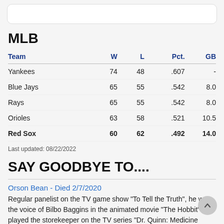MLB
| Team | W | L | Pct. | GB |
| --- | --- | --- | --- | --- |
| Yankees | 74 | 48 | .607 | - |
| Blue Jays | 65 | 55 | .542 | 8.0 |
| Rays | 65 | 55 | .542 | 8.0 |
| Orioles | 63 | 58 | .521 | 10.5 |
| Red Sox | 60 | 62 | .492 | 14.0 |
Last updated: 08/22/2022
SAY GOODBYE TO....
Orson Bean - Died 2/7/2020
Regular panelist on the TV game show "To Tell the Truth", he was the voice of Bilbo Baggins in the animated movie "The Hobbit" and played the storekeeper on the TV series "Dr. Quinn: Medicine